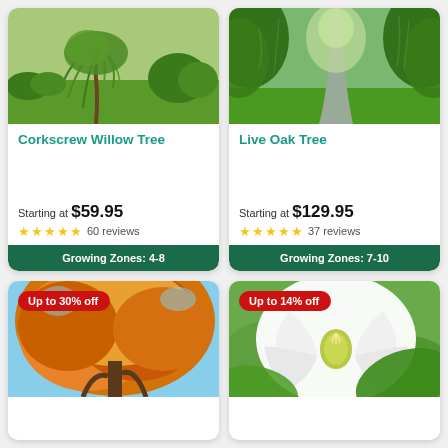[Figure (photo): Corkscrew willow tree with drooping branches on green lawn]
[Figure (photo): Live oak tree canopy forming tunnel over gravel road]
Corkscrew Willow Tree
Live Oak Tree
Starting at $59.95
★★★★★ 60 reviews
Growing Zones: 4-8
Starting at $129.95
★★★★★ 37 reviews
Growing Zones: 7-10
[Figure (photo): Autumn tree with orange and yellow foliage, badge: Up to 30% off]
[Figure (photo): White magnolia flower close-up, badge: Up to 14% off]